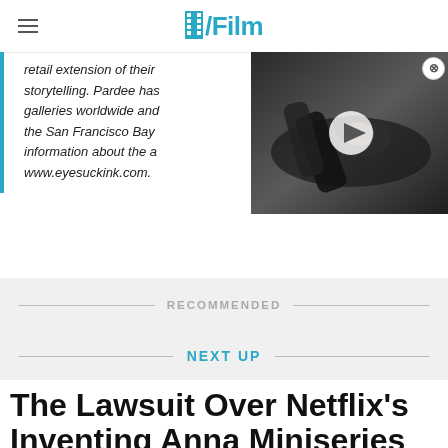/Film
retail extension of their storytelling. Pardee has galleries worldwide and the San Francisco Bay information about the a www.eyesuckink.com.
[Figure (photo): Video thumbnail showing a woman lying on the ground, dark fantasy scene, with a play button overlay]
RECOMMENDED
NEXT UP
The Lawsuit Over Netflix's Inventing Anna Miniseries